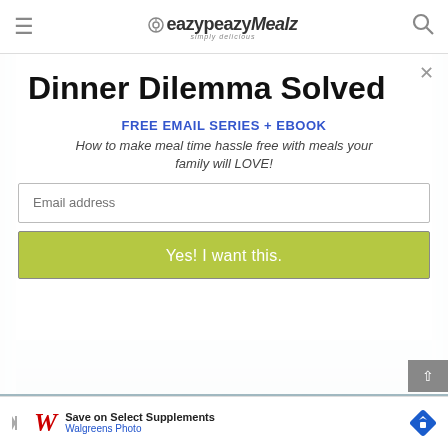eazypeazyMealz simply delicious
Dinner Dilemma Solved
FREE EMAIL SERIES + EBOOK
How to make meal time hassle free with meals your family will LOVE!
Email address
Yes! I want this.
[Figure (photo): Background photo strip showing food/people]
Save on Select Supplements Walgreens Photo